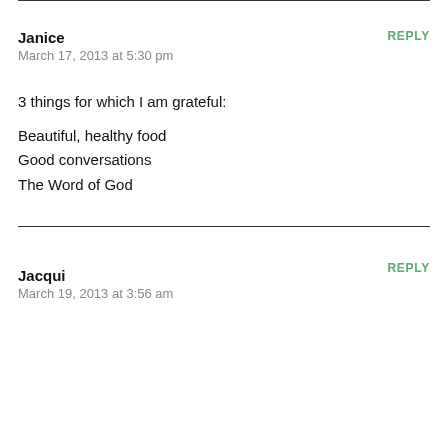Janice
March 17, 2013 at 5:30 pm
REPLY
3 things for which I am grateful:
Beautiful, healthy food
Good conversations
The Word of God
Jacqui
March 19, 2013 at 3:56 am
REPLY